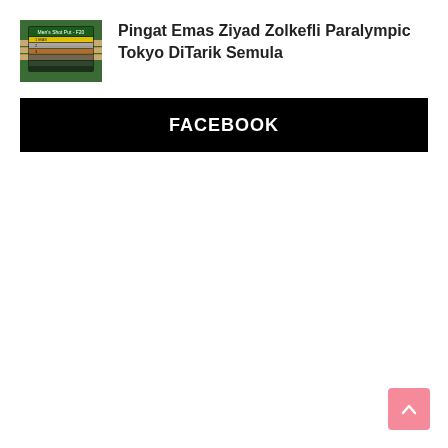[Figure (screenshot): Thumbnail image of a Paralympic athletics scoreboard at Tokyo]
Pingat Emas Ziyad Zolkefli Paralympic Tokyo DiTarik Semula
[Figure (other): Black Facebook banner with white text FACEBOOK]
[Figure (other): Scroll-to-top button, pink/salmon colored with upward arrow]